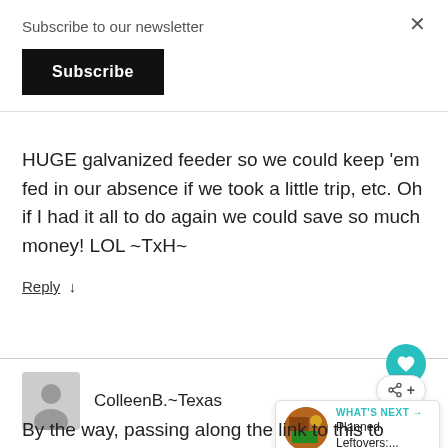Subscribe to our newsletter
Subscribe
×
HUGE galvanized feeder so we could keep 'em fed in our absence if we took a little trip, etc. Oh if I had it all to do again we could save so much money! LOL ~TxH~
Reply ↓
ColleenB.~Texas
WHAT'S NEXT → Planned Leftovers:...
By the way, passing along the link to this to